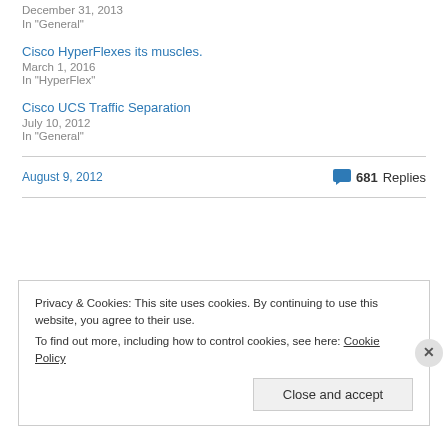December 31, 2013
In "General"
Cisco HyperFlexes its muscles.
March 1, 2016
In "HyperFlex"
Cisco UCS Traffic Separation
July 10, 2012
In "General"
August 9, 2012   681 Replies
Privacy & Cookies: This site uses cookies. By continuing to use this website, you agree to their use. To find out more, including how to control cookies, see here: Cookie Policy
Close and accept